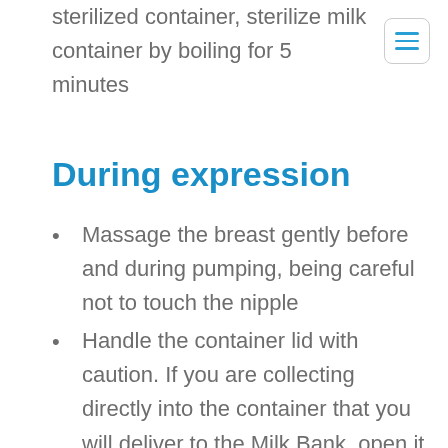sterilized container, sterilize milk container by boiling for 5 minutes
[Figure (other): Hamburger menu icon — three horizontal blue lines in a rounded square border]
During expression
Massage the breast gently before and during pumping, being careful not to touch the nipple
Handle the container lid with caution. If you are collecting directly into the container that you will deliver to the Milk Bank, open it and place the cap face up on the table or counter surface. If you are pumping into another container, then the t…